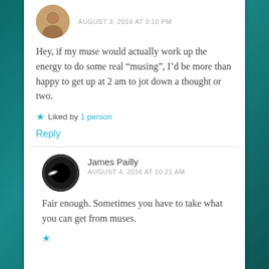AUGUST 3, 2016 AT 3:10 PM
Hey, if my muse would actually work up the energy to do some real “musing”, I’d be more than happy to get up at 2 am to jot down a thought or two.
★ Liked by 1 person
Reply
James Pailly
AUGUST 4, 2016 AT 10:21 AM
Fair enough. Sometimes you have to take what you can get from muses.